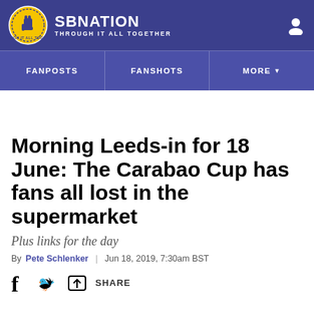SBNation — Through It All Together
Morning Leeds-in for 18 June: The Carabao Cup has fans all lost in the supermarket
Plus links for the day
By Pete Schlenker | Jun 18, 2019, 7:30am BST
SHARE